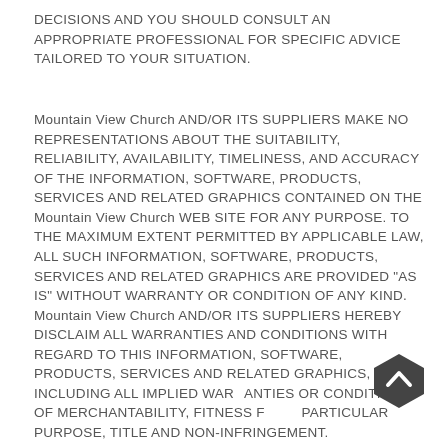DECISIONS AND YOU SHOULD CONSULT AN APPROPRIATE PROFESSIONAL FOR SPECIFIC ADVICE TAILORED TO YOUR SITUATION.
Mountain View Church AND/OR ITS SUPPLIERS MAKE NO REPRESENTATIONS ABOUT THE SUITABILITY, RELIABILITY, AVAILABILITY, TIMELINESS, AND ACCURACY OF THE INFORMATION, SOFTWARE, PRODUCTS, SERVICES AND RELATED GRAPHICS CONTAINED ON THE Mountain View Church WEB SITE FOR ANY PURPOSE. TO THE MAXIMUM EXTENT PERMITTED BY APPLICABLE LAW, ALL SUCH INFORMATION, SOFTWARE, PRODUCTS, SERVICES AND RELATED GRAPHICS ARE PROVIDED "AS IS" WITHOUT WARRANTY OR CONDITION OF ANY KIND. Mountain View Church AND/OR ITS SUPPLIERS HEREBY DISCLAIM ALL WARRANTIES AND CONDITIONS WITH REGARD TO THIS INFORMATION, SOFTWARE, PRODUCTS, SERVICES AND RELATED GRAPHICS, INCLUDING ALL IMPLIED WARRANTIES OR CONDITIONS OF MERCHANTABILITY, FITNESS FOR A PARTICULAR PURPOSE, TITLE AND NON-INFRINGEMENT.
[Figure (other): Scroll-to-top button: dark hexagon shape with upward chevron arrow icon]